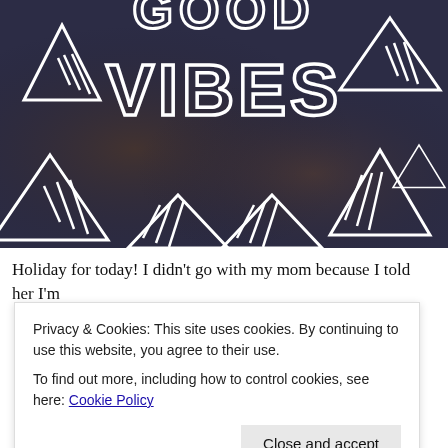[Figure (photo): Photo of a chalkboard with 'GOOD VIBES' written in white chalk lettering, surrounded by decorative white outlined triangle shapes with diagonal line fills on a dark blue-grey background.]
Holiday for today! I didn’t go with my mom because I told her I’m
Privacy & Cookies: This site uses cookies. By continuing to use this website, you agree to their use.
To find out more, including how to control cookies, see here: Cookie Policy
Close and accept